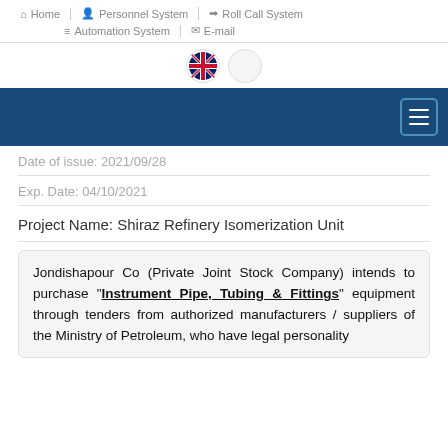Home | Personnel System | Roll Call System | Automation System | E-mail
Date of issue: 2021/09/28
Exp. Date: 04/10/2021
Project Name: Shiraz Refinery Isomerization Unit
Jondishapour Co (Private Joint Stock Company) intends to purchase "Instrument Pipe, Tubing & Fittings" equipment through tenders from authorized manufacturers / suppliers of the Ministry of Petroleum, who have legal personality...